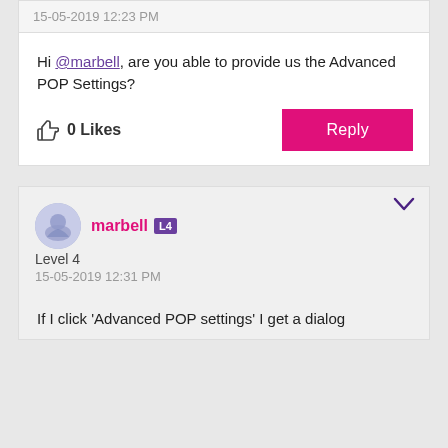15-05-2019 12:23 PM
Hi @marbell, are you able to provide us the Advanced POP Settings?
0 Likes
Reply
marbell L4
Level 4
15-05-2019 12:31 PM
If I click 'Advanced POP settings' I get a dialog